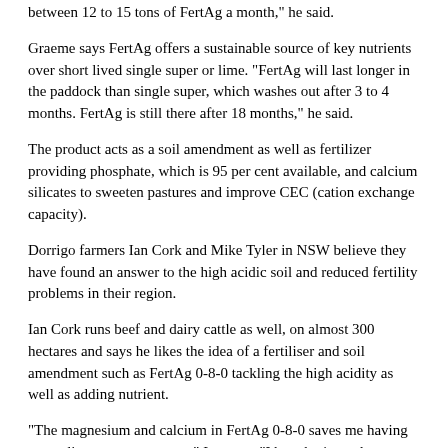between 12 to 15 tons of FertAg a month," he said.
Graeme says FertAg offers a sustainable source of key nutrients over short lived single super or lime. "FertAg will last longer in the paddock than single super, which washes out after 3 to 4 months. FertAg is still there after 18 months," he said.
The product acts as a soil amendment as well as fertilizer providing phosphate, which is 95 per cent available, and calcium silicates to sweeten pastures and improve CEC (cation exchange capacity).
Dorrigo farmers Ian Cork and Mike Tyler in NSW believe they have found an answer to the high acidic soil and reduced fertility problems in their region.
Ian Cork runs beef and dairy cattle as well, on almost 300 hectares and says he likes the idea of a fertiliser and soil amendment such as FertAg 0-8-0 tackling the high acidity as well as adding nutrient.
"The magnesium and calcium in FertAg 0-8-0 saves me having to use lime as an extra cost," Ian says. "I bought 4 tons last year and 22 tons this year, with good results for Sorghum. It is cost